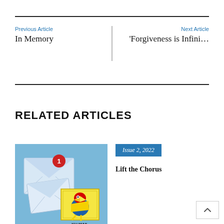Previous Article
In Memory
Next Article
'Forgiveness is Infini...
RELATED ARTICLES
[Figure (photo): Photo of envelope icons on a blue background with a KU MAIL stamp featuring the Jayhawk mascot and a notification badge showing '1']
Issue 2, 2022
Lift the Chorus